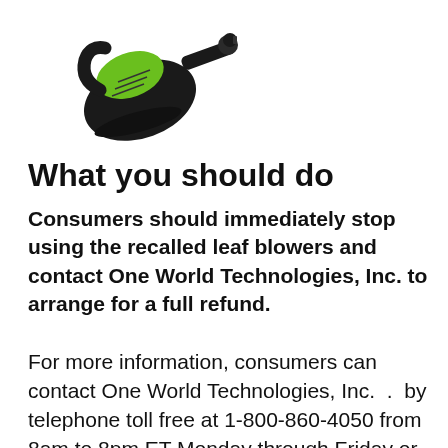[Figure (photo): A green and black cordless leaf blower (Ryobi brand style) shown at an angle against a white background]
What you should do
Consumers should immediately stop using the recalled leaf blowers and contact One World Technologies, Inc. to arrange for a full refund.
For more information, consumers can contact One World Technologies, Inc. . by telephone toll free at 1-800-860-4050 from 8am to 8pm ET Monday through Friday or